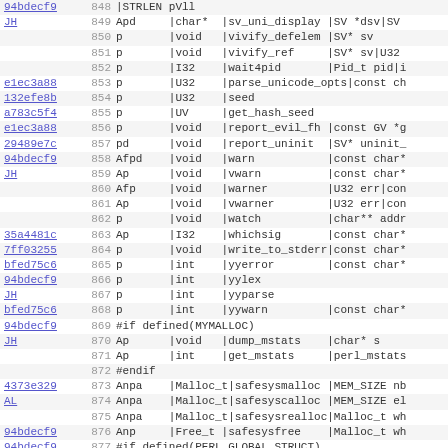| hash | line | code |
| --- | --- | --- |
| 94bdecf9 | 848 | |STRLEN pVll |
| JH | 849 | Apd     |char*  |sv_uni_display |SV *dsv|SV |
|  | 850 | p       |void   |vivify_defelem |SV* sv |
|  | 851 | p       |void   |vivify_ref     |SV* sv|U32 |
|  | 852 | p       |I32    |wait4pid       |Pid_t pid|i |
| e1ec3a88 | 853 | p       |U32    |parse_unicode_opts|const ch |
| 132efe8b | 854 | p       |U32    |seed |
| a783c5f4 | 855 | p       |UV     |get_hash_seed |
| e1ec3a88 | 856 | p       |void   |report_evil_fh |const GV *g |
| 29489e7c | 857 | pd      |void   |report_uninit  |SV* uninit_ |
| 94bdecf9 | 858 | Afpd    |void   |warn           |const char* |
| JH | 859 | Ap      |void   |vwarn          |const char* |
|  | 860 | Afp     |void   |warner         |U32 err|con |
|  | 861 | Ap      |void   |vwarner        |U32 err|con |
|  | 862 | p       |void   |watch          |char** addr |
| 35a4481c | 863 | Ap      |I32    |whichsig       |const char* |
| 7ff03255 | 864 | p       |void   |write_to_stderr|const char* |
| bfed75c6 | 865 | p       |int    |yyerror        |const char* |
| 94bdecf9 | 866 | p       |int    |yylex |
| JH | 867 | p       |int    |yyparse |
| bfed75c6 | 868 | p       |int    |yywarn         |const char* |
| 94bdecf9 | 869 | #if defined(MYMALLOC) |
| JH | 870 | Ap      |void   |dump_mstats    |char* s |
|  | 871 | Ap      |int    |get_mstats     |perl_mstats |
|  | 872 | #endif |
| 4373e329 | 873 | Anpa    |Malloc_t|safesysmalloc |MEM_SIZE nb |
| AL | 874 | Anpa    |Malloc_t|safesyscalloc |MEM_SIZE el |
|  | 875 | Anpa    |Malloc_t|safesysrealloc|Malloc_t wh |
| 94bdecf9 | 876 | Anp     |Free_t |safesysfree    |Malloc_t wh |
| 94bdecf9 | 877 | #if defined(PERL_GLOBAL_STRUCT) |
| JH | 878 | Ap      |struct perl_vars *|GetVars |
| 77304e85 | 879 | Ap      |struct perl_vars*|init_global_struc |
|  | 880 | Ap      |void   |free_global_st... |